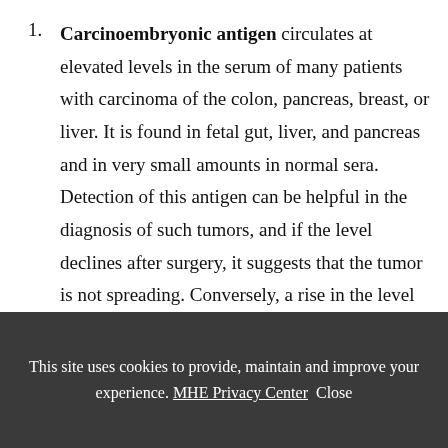Carcinoembryonic antigen circulates at elevated levels in the serum of many patients with carcinoma of the colon, pancreas, breast, or liver. It is found in fetal gut, liver, and pancreas and in very small amounts in normal sera. Detection of this antigen can be helpful in the diagnosis of such tumors, and if the level declines after surgery, it suggests that the tumor is not spreading. Conversely, a rise in the level of carcinoembryonic
This site uses cookies to provide, maintain and improve your experience. MHE Privacy Center  Close